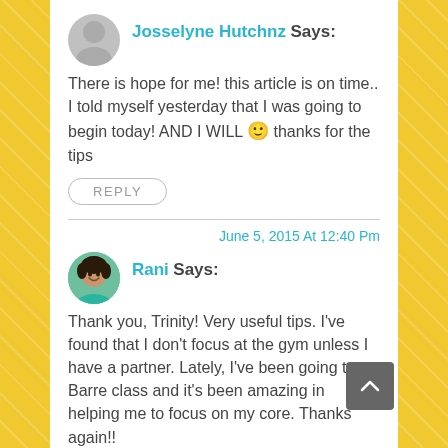Josselyne Hutchnz Says: There is hope for me! this article is on time.. I told myself yesterday that I was going to begin today! AND I WILL 🙂 thanks for the tips
REPLY
June 5, 2015 At 12:40 Pm
Rani Says: Thank you, Trinity! Very useful tips. I've found that I don't focus at the gym unless I have a partner. Lately, I've been going to a Barre class and it's been amazing in helping me to focus on my core. Thanks again!!
REPLY